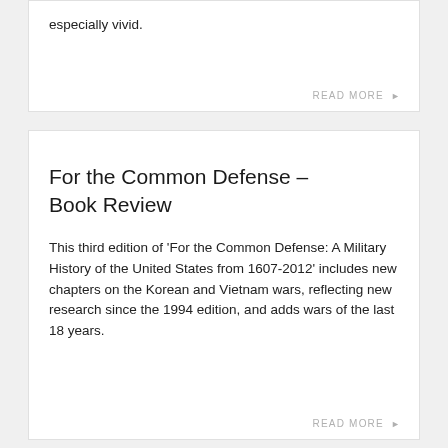especially vivid.
READ MORE ▶
For the Common Defense – Book Review
This third edition of 'For the Common Defense: A Military History of the United States from 1607-2012' includes new chapters on the Korean and Vietnam wars, reflecting new research since the 1994 edition, and adds wars of the last 18 years.
READ MORE ▶